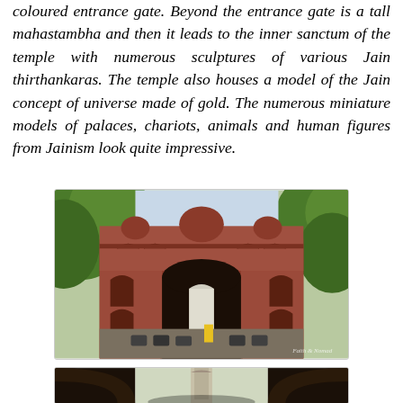coloured entrance gate. Beyond the entrance gate is a tall mahastambha and then it leads to the inner sanctum of the temple with numerous sculptures of various Jain thirthankaras. The temple also houses a model of the Jain concept of universe made of gold. The numerous miniature models of palaces, chariots, animals and human figures from Jainism look quite impressive.
[Figure (photo): Photograph of a red sandstone Jain temple entrance gate with arched gateway, ornate upper storey with pavilions, flanked by trees on both sides, motorcycles parked in front, with a watermark in the bottom-right corner.]
[Figure (photo): Partial photograph showing the view through an archway of what appears to be a tall pillar or mahastambha inside the temple complex.]